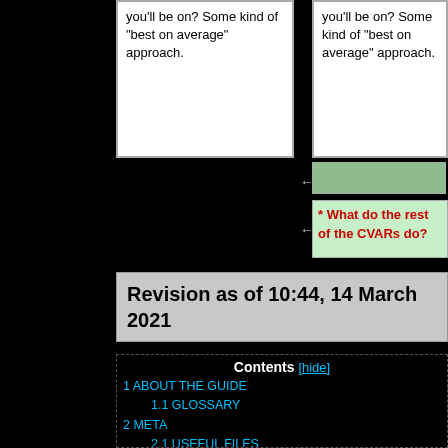you'll be on? Some kind of "best on average" approach.
you'll be on? Some kind of "best on average" approach.
[Figure (other): Green highlighted box (empty or unlabeled)]
* What do the rest of the CVARs do?
Revision as of 10:44, 14 March 2021
1 ABOUT THE GUIDE
1.1 GLOSSARY
2 META
2.1 USEFUL FILES
2.2 DOSBOX / EMULATORS
2.3 ROOM VIEWER
2.4 VARS VIEWER
2.5 LIFEDISA/TRACKDISA
2.6 MEMORY VIEWER
2.7 CACHE VIEWER
2.8 FREE IN THE DARK / FITD HACK
2.9 OTHER TOOLS